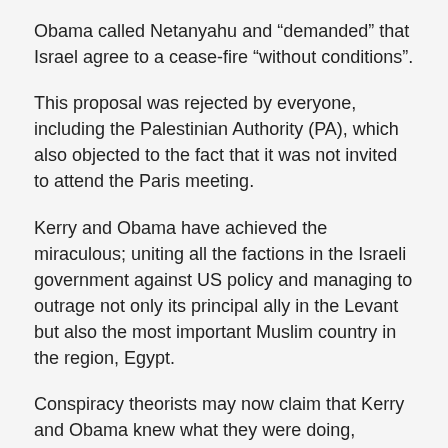Obama called Netanyahu and “demanded” that Israel agree to a cease-fire “without conditions”.
This proposal was rejected by everyone, including the Palestinian Authority (PA), which also objected to the fact that it was not invited to attend the Paris meeting.
Kerry and Obama have achieved the miraculous; uniting all the factions in the Israeli government against US policy and managing to outrage not only its principal ally in the Levant but also the most important Muslim country in the region, Egypt.
Conspiracy theorists may now claim that Kerry and Obama knew what they were doing, because now Israel will be able to continue to degrade Hamas’ and Islamic Jihad’s military capacity without let or hindrance by third parties.